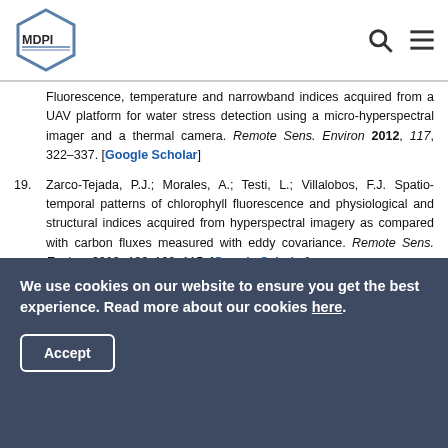MDPI
Fluorescence, temperature and narrowband indices acquired from a UAV platform for water stress detection using a micro-hyperspectral imager and a thermal camera. Remote Sens. Environ 2012, 117, 322–337. [Google Scholar]
19. Zarco-Tejada, P.J.; Morales, A.; Testi, L.; Villalobos, F.J. Spatio-temporal patterns of chlorophyll fluorescence and physiological and structural indices acquired from hyperspectral imagery as compared with carbon fluxes measured with eddy covariance. Remote Sens. Environ 2013, 133, 102–115. [Google Scholar]
We use cookies on our website to ensure you get the best experience. Read more about our cookies here.
Accept